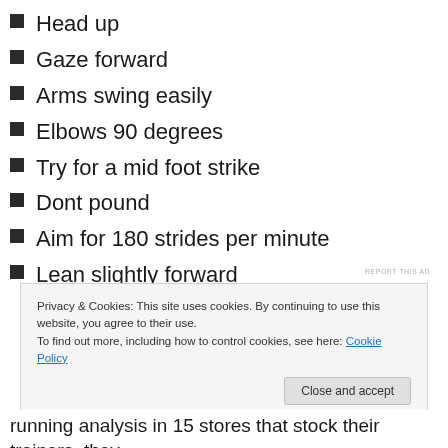Head up
Gaze forward
Arms swing easily
Elbows 90 degrees
Try for a mid foot strike
Dont pound
Aim for 180 strides per minute
Lean slightly forward
REPORT THIS AD
Privacy & Cookies: This site uses cookies. By continuing to use this website, you agree to their use.
To find out more, including how to control cookies, see here: Cookie Policy
Close and accept
running analysis in 15 stores that stock their trainers, they